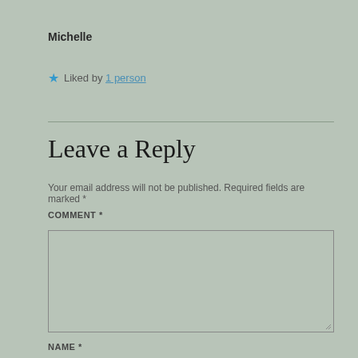Michelle
★ Liked by 1 person
Leave a Reply
Your email address will not be published. Required fields are marked *
COMMENT *
NAME *